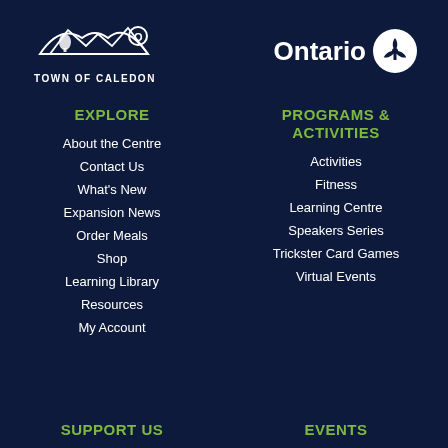[Figure (logo): Town of Caledon logo with mountain/landscape silhouette icon above text TOWN OF CALEDON]
[Figure (logo): Ontario provincial logo: word Ontario in white with trillium symbol in white circle]
EXPLORE
About the Centre
Contact Us
What's New
Expansion News
Order Meals
Shop
Learning Library
Resources
My Account
PROGRAMS & ACTIVITIES
Activities
Fitness
Learning Centre
Speakers Series
Trickster Card Games
Virtual Events
SUPPORT US
EVENTS